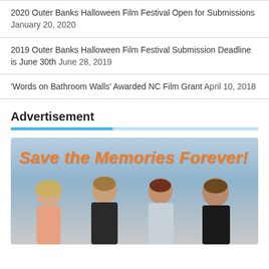2020 Outer Banks Halloween Film Festival Open for Submissions  January 20, 2020
2019 Outer Banks Halloween Film Festival Submission Deadline is June 30th  June 28, 2019
'Words on Bathroom Walls' Awarded NC Film Grant  April 10, 2018
Advertisement
[Figure (photo): Advertisement image showing a family of four posing outdoors near a beach at dusk with orange bold italic text reading 'Save the Memories Forever!']